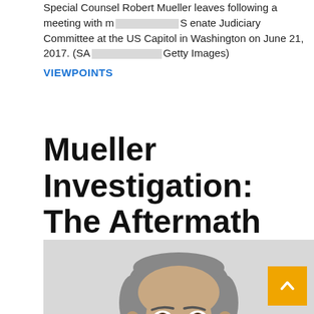Special Counsel Robert Mueller leaves following a meeting with members of the US Senate Judiciary Committee at the US Capitol in Washington on June 21, 2017. (SAUL LOEB/AFP/Getty Images)
VIEWPOINTS
Mueller Investigation: The Aftermath
[Figure (photo): Headshot photo of a middle-aged man with short gray hair against a light gray background]